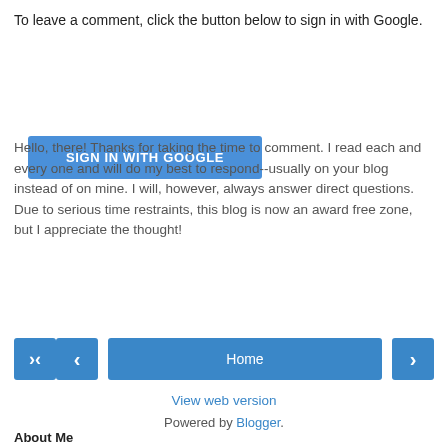To leave a comment, click the button below to sign in with Google.
[Figure (other): Blue 'SIGN IN WITH GOOGLE' button]
Hello, there! Thanks for taking the time to comment. I read each and every one and will do my best to respond--usually on your blog instead of on mine. I will, however, always answer direct questions. Due to serious time restraints, this blog is now an award free zone, but I appreciate the thought!
[Figure (other): Navigation bar with left arrow button, Home button, and right arrow button]
View web version
Powered by Blogger.
About Me